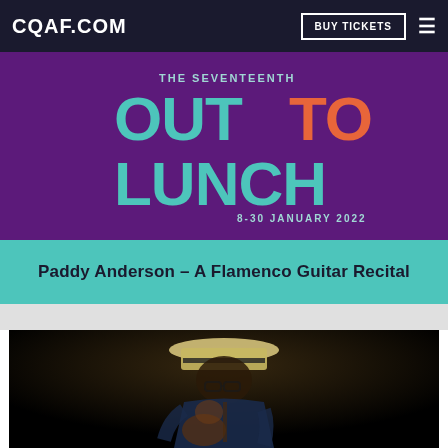CQAF.COM
[Figure (logo): THE SEVENTEENTH OUT TO LUNCH festival logo — large stylized text 'OUT TO LUNCH' in teal/mint on purple background, with 'TO' in orange; subtitle '8-30 JANUARY 2022']
Paddy Anderson – A Flamenco Guitar Recital
[Figure (photo): Photograph of a male flamenco guitarist wearing a cream fedora hat and navy jacket, playing guitar, head bowed, in dramatic dark studio lighting against black background]